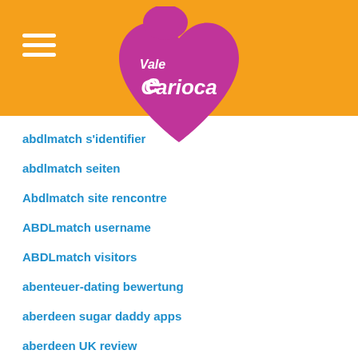[Figure (logo): Vale Carioca logo - pink heart shape with white text 'Vale Carioca' on orange header background]
abdlmatch s'identifier
abdlmatch seiten
Abdlmatch site rencontre
ABDLmatch username
ABDLmatch visitors
abenteuer-dating bewertung
aberdeen sugar daddy apps
aberdeen UK review
abilene eros escort
abilene escort index
abilene escort near me
abilene escort service companies
abilene live escort review